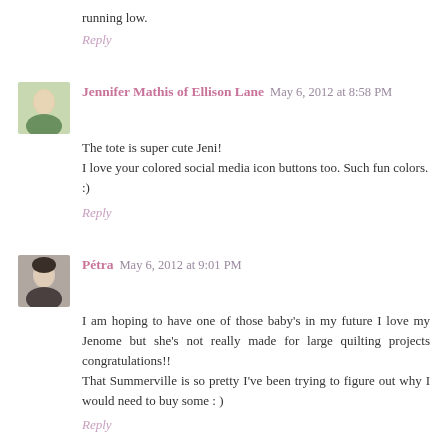running low.
Reply
Jennifer Mathis of Ellison Lane  May 6, 2012 at 8:58 PM
The tote is super cute Jeni!
I love your colored social media icon buttons too. Such fun colors.
:)
Reply
Pétra  May 6, 2012 at 9:01 PM
I am hoping to have one of those baby's in my future I love my Jenome but she's not really made for large quilting projects congratulations!!
That Summerville is so pretty I've been trying to figure out why I would need to buy some : )
Reply